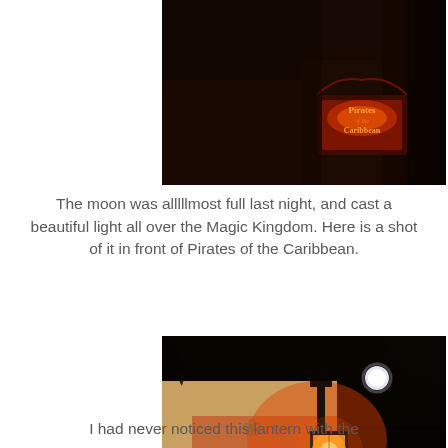[Figure (photo): Nighttime photo of the Pirates of the Caribbean sign at Magic Kingdom, lit in red/orange tones against a dark background]
The moon was alllllmost full last night, and cast a beautiful light all over the Magic Kingdom. Here is a shot of it in front of Pirates of the Caribbean.
[Figure (photo): Nighttime photo showing a glowing lantern hanging from a stone/stucco building exterior with decorative floral motifs, moon visible in dark sky above]
I had never noticed this lantern with the